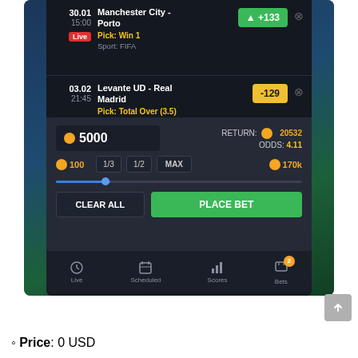[Figure (screenshot): Sports betting app screenshot showing a bet slip with two matches: Manchester City vs Porto (Pick: Win 1, odds +133, Live) and Levante UD vs Real Madrid (Pick: Total Over 3.5, odds -129). Bet slip shows stake of 5000 coins, return of 20532 coins, odds 4.11. Has quick-select buttons (1/3, 1/2, MAX), a slider, CLEAR ALL and PLACE BET buttons, and a bottom nav bar with Live, Scheduled, Scores, Bets (badge:2) tabs.]
Price: 0 USD